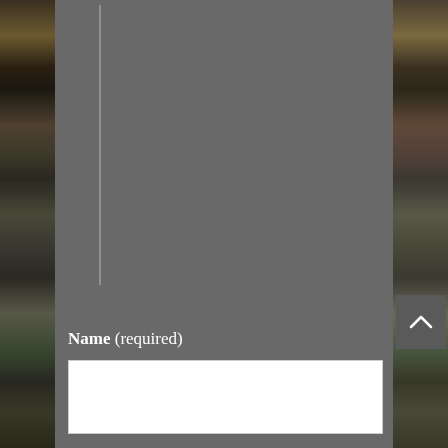[Figure (photo): Background photo strips on left and right sides showing graduation ceremony scenes with students in caps and gowns, with a gray overlay panel in the center]
Name (required)
[Figure (screenshot): White text input form field for Name (required)]